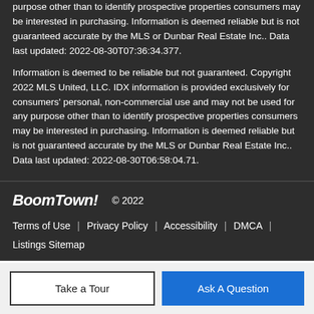purpose other than to identify prospective properties consumers may be interested in purchasing. Information is deemed reliable but is not guaranteed accurate by the MLS or Dunbar Real Estate Inc.. Data last updated: 2022-08-30T07:36:34.377.
Information is deemed to be reliable but not guaranteed. Copyright 2022 MLS United, LLC. IDX information is provided exclusively for consumers' personal, non-commercial use and may not be used for any purpose other than to identify prospective properties consumers may be interested in purchasing. Information is deemed reliable but is not guaranteed accurate by the MLS or Dunbar Real Estate Inc.. Data last updated: 2022-08-30T06:58:04.71.
BoomTown! © 2022 | Terms of Use | Privacy Policy | Accessibility | DMCA | Listings Sitemap
Take a Tour | Ask A Question